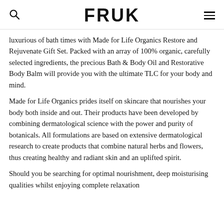FRUK
luxurious of bath times with Made for Life Organics Restore and Rejuvenate Gift Set. Packed with an array of 100% organic, carefully selected ingredients, the precious Bath & Body Oil and Restorative Body Balm will provide you with the ultimate TLC for your body and mind.
Made for Life Organics prides itself on skincare that nourishes your body both inside and out. Their products have been developed by combining dermatological science with the power and purity of botanicals. All formulations are based on extensive dermatological research to create products that combine natural herbs and flowers, thus creating healthy and radiant skin and an uplifted spirit.
Should you be searching for optimal nourishment, deep moisturising qualities whilst enjoying complete relaxation